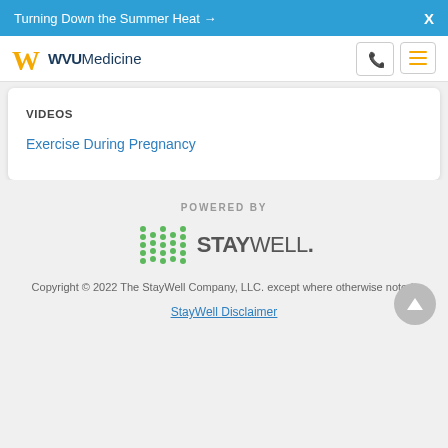Turning Down the Summer Heat → X
[Figure (logo): WVU Medicine logo with gold W and dark blue WVU Medicine text, plus phone and menu icons]
VIDEOS
Exercise During Pregnancy
POWERED BY
[Figure (logo): StayWell logo with green dot-bar icon and gray STAYWELL text]
Copyright © 2022 The StayWell Company, LLC. except where otherwise noted.
StayWell Disclaimer